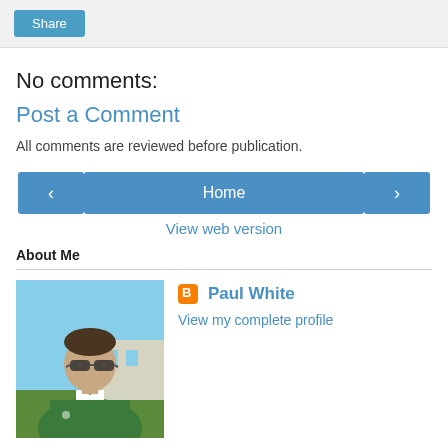Share
No comments:
Post a Comment
All comments are reviewed before publication.
< Home > View web version
About Me
[Figure (photo): Profile photo of Paul White, a man wearing sunglasses and a green polo shirt, outdoors]
Paul White
View my complete profile
Powered by Blogger.